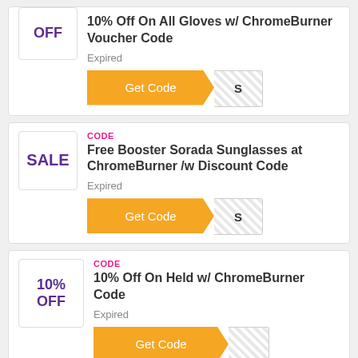10% Off On All Gloves w/ ChromeBurner Voucher Code
Expired
Get Code
CODE
Free Booster Sorada Sunglasses at ChromeBurner /w Discount Code
Expired
Get Code
CODE
10% Off On Held w/ ChromeBurner Code
Expired
Get Code